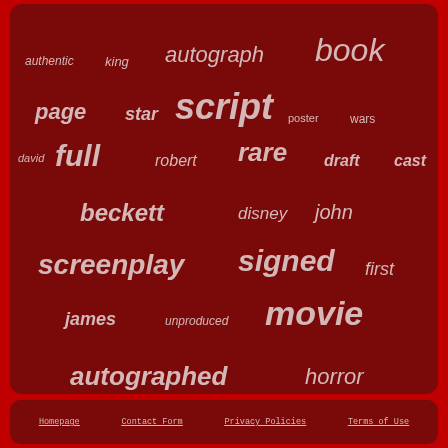[Figure (infographic): Tag cloud on dark red background with film/autograph related keywords in varying sizes and italic/bold styles. Words include: authentic, king, autograph, book, page, star, script, poster, wars, full, robert, rare, draft, cast, david, beckett, disney, john, screenplay, signed, first, james, unproduced, movie, autographed, horror]
Homepage | Contact Form | Privacy Policies | Terms of Use